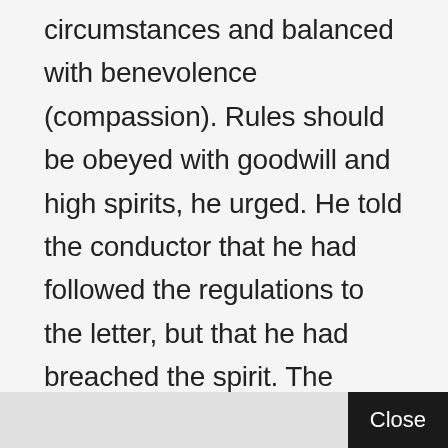circumstances and balanced with benevolence (compassion). Rules should be obeyed with goodwill and high spirits, he urged. He told the conductor that he had followed the regulations to the letter, but that he had breached the spirit. The conductor did not seem to deny what the narrator explained to him. Both of them bid good night to each other and parted ways.
Close